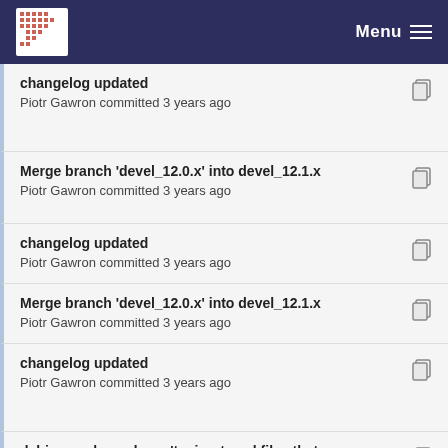Menu
changelog updated
Piotr Gawron committed 3 years ago
Merge branch 'devel_12.0.x' into devel_12.1.x
Piotr Gawron committed 3 years ago
changelog updated
Piotr Gawron committed 3 years ago
Merge branch 'devel_12.0.x' into devel_12.1.x
Piotr Gawron committed 3 years ago
changelog updated
Piotr Gawron committed 3 years ago
debian package doesn't migrate sql files that are ...
Piotr Gawron committed 4 years ago